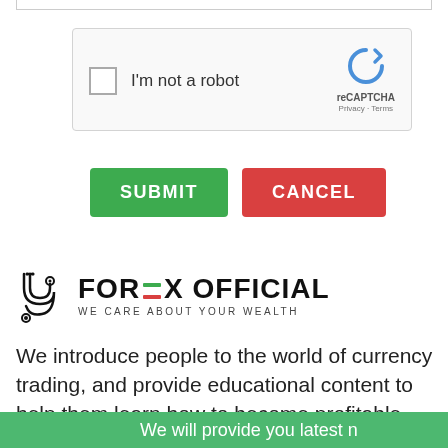[Figure (screenshot): reCAPTCHA widget with checkbox labeled 'I'm not a robot' and reCAPTCHA logo on right side]
[Figure (other): SUBMIT button (green) and CANCEL button (red)]
[Figure (logo): Forex Official logo with stethoscope icon and text 'FOREX OFFICIAL - WE CARE ABOUT YOUR WEALTH']
We introduce people to the world of currency trading, and provide educational content to help them learn how to become profitable traders. We're also a community
We will provide you latest n